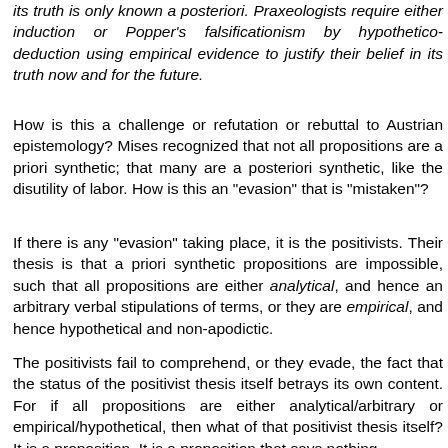its truth is only known a posteriori. Praxeologists require either induction or Popper's falsificationism by hypothetico-deduction using empirical evidence to justify their belief in its truth now and for the future.
How is this a challenge or refutation or rebuttal to Austrian epistemology? Mises recognized that not all propositions are a priori synthetic; that many are a posteriori synthetic, like the disutility of labor. How is this an "evasion" that is "mistaken"?
If there is any "evasion" taking place, it is the positivists. Their thesis is that a priori synthetic propositions are impossible, such that all propositions are either analytical, and hence an arbitrary verbal stipulations of terms, or they are empirical, and hence hypothetical and non-apodictic.
The positivists fail to comprehend, or they evade, the fact that the status of the positivist thesis itself betrays its own content. For if all propositions are either analytical/arbitrary or empirical/hypothetical, then what of that positivist thesis itself? It is a proposition. It is a proposition that says nothing